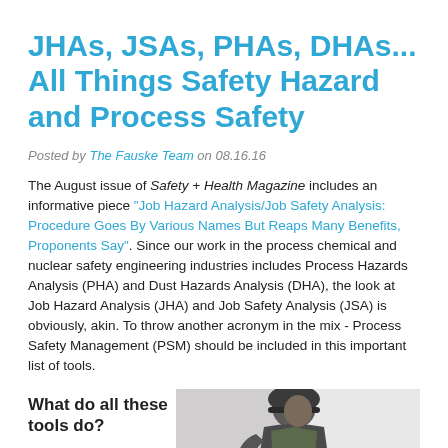JHAs, JSAs, PHAs, DHAs... All Things Safety Hazard and Process Safety
Posted by The Fauske Team on 08.16.16
The August issue of Safety + Health Magazine includes an informative piece "Job Hazard Analysis/Job Safety Analysis: Procedure Goes By Various Names But Reaps Many Benefits, Proponents Say". Since our work in the process chemical and nuclear safety engineering industries includes Process Hazards Analysis (PHA) and Dust Hazards Analysis (DHA), the look at Job Hazard Analysis (JHA) and Job Safety Analysis (JSA) is obviously, akin. To throw another acronym in the mix - Process Safety Management (PSM) should be included in this important list of tools.
What do all these tools do?
[Figure (photo): A person wearing a hard hat and safety gear, photographed from the side/back, with a light background.]